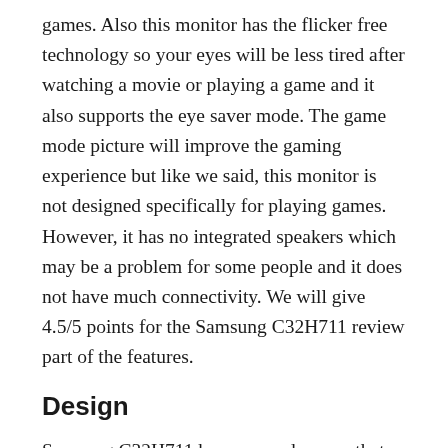games. Also this monitor has the flicker free technology so your eyes will be less tired after watching a movie or playing a game and it also supports the eye saver mode. The game mode picture will improve the gaming experience but like we said, this monitor is not designed specifically for playing games. However, it has no integrated speakers which may be a problem for some people and it does not have much connectivity. We will give 4.5/5 points for the Samsung C32H711 review part of the features.
Design
Samsung C32H711 has a curved screen that offers